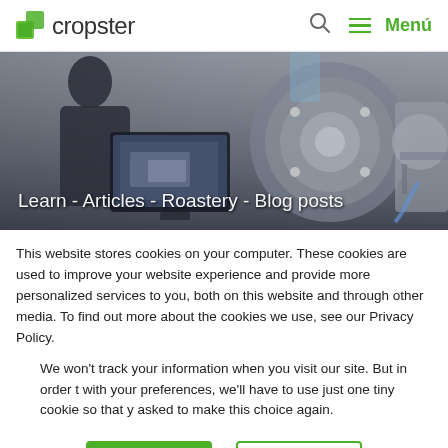cropster — Menú
[Figure (photo): A person using a laptop/touch screen near an industrial coffee roasting machine in a roastery setting. White overlay text reads: Learn - Articles - Roastery - Blog posts]
Learn - Articles  -  Roastery  -  Blog posts
This website stores cookies on your computer. These cookies are used to improve your website experience and provide more personalized services to you, both on this website and through other media. To find out more about the cookies we use, see our Privacy Policy.
We won't track your information when you visit our site. But in order to comply with your preferences, we'll have to use just one tiny cookie so that you're not asked to make this choice again.